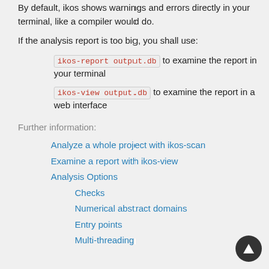By default, ikos shows warnings and errors directly in your terminal, like a compiler would do.
If the analysis report is too big, you shall use:
ikos-report output.db to examine the report in your terminal
ikos-view output.db to examine the report in a web interface
Further information:
Analyze a whole project with ikos-scan
Examine a report with ikos-view
Analysis Options
Checks
Numerical abstract domains
Entry points
Multi-threading